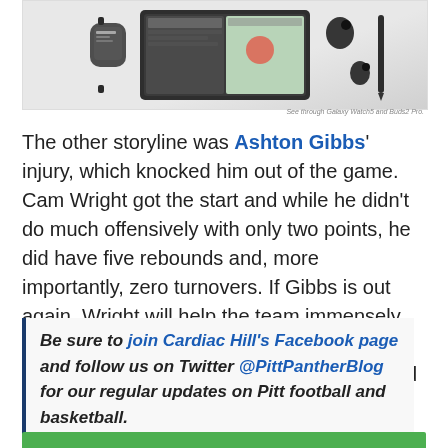[Figure (photo): Advertisement image showing Samsung Galaxy devices including a smartwatch, foldable phone/tablet, earbuds and stylus on light background. Caption text at bottom right reads: 'See the Galacy Watch5 and Buds2 Pro.']
The other storyline was Ashton Gibbs' injury, which knocked him out of the game. Cam Wright got the start and while he didn't do much offensively with only two points, he did have five rebounds and, more importantly, zero turnovers. If Gibbs is out again, Wright will help the team immensely by merely taking care of the ball. This is stating the obvious, but his role doesn't need to be scoring.
Be sure to join Cardiac Hill's Facebook page and follow us on Twitter @PittPantherBlog for our regular updates on Pitt football and basketball.